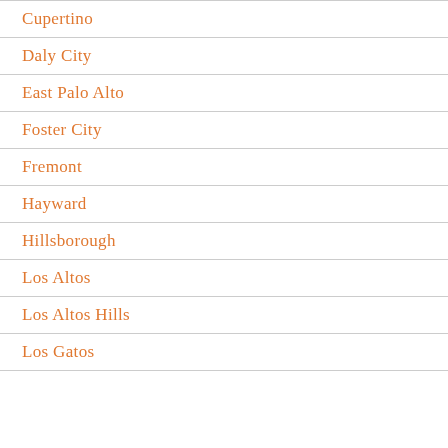Cupertino
Daly City
East Palo Alto
Foster City
Fremont
Hayward
Hillsborough
Los Altos
Los Altos Hills
Los Gatos